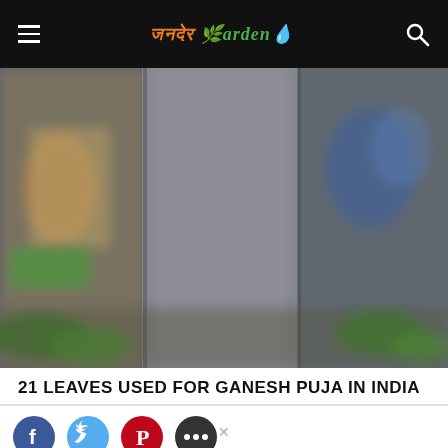India Gardening
[Figure (photo): A blurred close-up photograph of what appears to be a Ganesh puja setting, showing green leaves on the ground, a stone or concrete pillar in the center, and colorful decorations including a deity statue on the left and blue flowers on the right.]
21 LEAVES USED FOR GANESH PUJA IN INDIA
[Figure (other): Social media share buttons: Facebook (blue circle), Twitter (light blue circle), Pinterest (red circle), more/share (dark circle)]